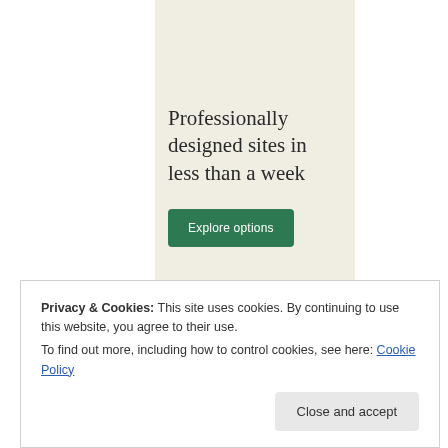[Figure (infographic): Advertisement panel with beige background showing promotional text and a green call-to-action button for a web design service]
Professionally designed sites in less than a week
Explore options
Privacy & Cookies: This site uses cookies. By continuing to use this website, you agree to their use.
To find out more, including how to control cookies, see here: Cookie Policy
Close and accept